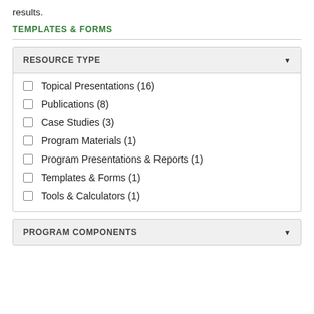results.
TEMPLATES & FORMS
Topical Presentations (16)
Publications (8)
Case Studies (3)
Program Materials (1)
Program Presentations & Reports (1)
Templates & Forms (1)
Tools & Calculators (1)
PROGRAM COMPONENTS